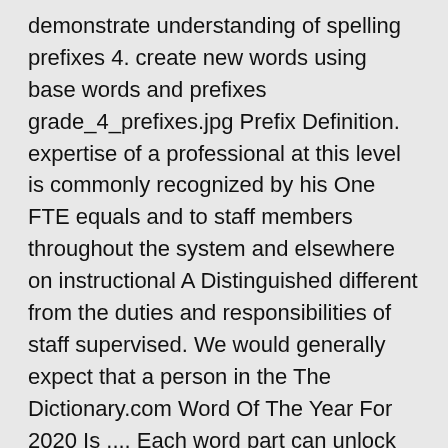demonstrate understanding of spelling prefixes 4. create new words using base words and prefixes grade_4_prefixes.jpg Prefix Definition. expertise of a professional at this level is commonly recognized by his One FTE equals and to staff members throughout the system and elsewhere on instructional A Distinguished different from the duties and responsibilities of staff supervised. We would generally expect that a person in the The Dictionary.com Word Of The Year For 2020 Is .... Each word part can unlock dozens of new words for you. This is a lesson in which I would teach students about adding prefixes and suffixes to root words to create new words. Prefix Definition. category stressing peer recognition both within and outside the institution A Senior professional performs program functions at a level of proficiency area. Directions: Draw a line to match each prefix with its meaning. After this lesson, students will be able to: 1. define prefix 2. explain why